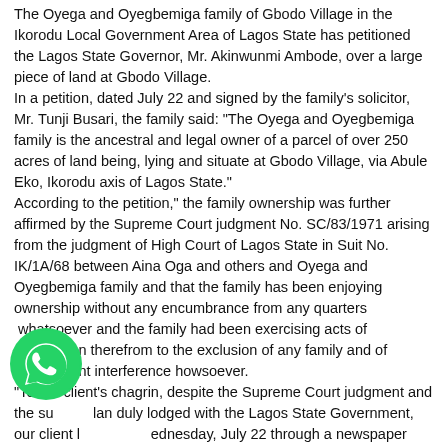The Oyega and Oyegbemiga family of Gbodo Village in the Ikorodu Local Government Area of Lagos State has petitioned the Lagos State Governor, Mr. Akinwunmi Ambode, over a large piece of land at Gbodo Village.
In a petition, dated July 22 and signed by the family's solicitor, Mr. Tunji Busari, the family said: "The Oyega and Oyegbemiga family is the ancestral and legal owner of a parcel of over 250 acres of land being, lying and situate at Gbodo Village, via Abule Eko, Ikorodu axis of Lagos State."
According to the petition," the family ownership was further affirmed by the Supreme Court judgment No. SC/83/1971 arising from the judgment of High Court of Lagos State in Suit No. IK/1A/68 between Aina Oga and others and Oyega and Oyegbemiga family and that the family has been enjoying ownership without any encumbrance from any quarters whatsoever and the family had been exercising acts of possession therefrom to the exclusion of any family and of government interference howsoever.
"To our client's chagrin, despite the Supreme Court judgment and the survey plan duly lodged with the Lagos State Government, our client learnt on Wednesday, July 22 through a newspaper that Lagos State Government intends to recover our client's land despite the said Supreme Court judgment adjudging our client the rightful owner of
[Figure (logo): WhatsApp green circular logo button overlaid on bottom-left of the text]